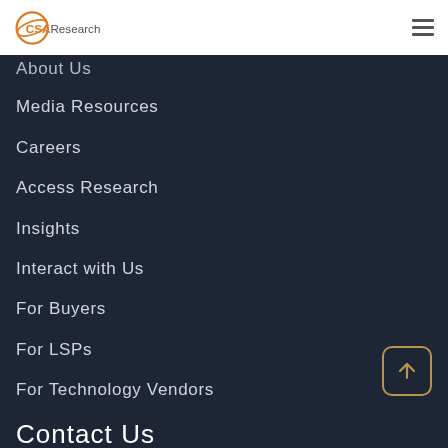CSA Research
About Us
Media Resources
Careers
Access Research
Insights
Interact with Us
For Buyers
For LSPs
For Technology Vendors
Contact Us